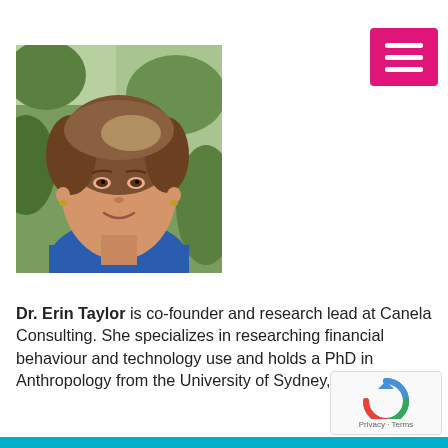[Figure (photo): Headshot photo of Dr. Erin Taylor, a woman with shoulder-length brown hair, smiling, wearing a blue top, outdoors with blurred green background]
Dr. Erin Taylor is co-founder and research lead at Canela Consulting. She specializes in researching financial behaviour and technology use and holds a PhD in Anthropology from the University of Sydney, Australia.